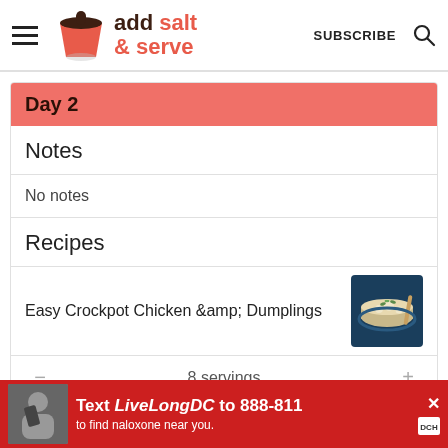add salt & serve — SUBSCRIBE
Day 2
Notes
No notes
Recipes
Easy Crockpot Chicken &amp; Dumplings
8 servings
Gree
[Figure (screenshot): Ad banner: Text LiveLongDC to 888-811 to find naloxone near you.]